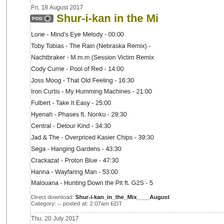Fri, 18 August 2017
Shur-i-kan in the Mi
Lone - Mind's Eye Melody - 00:00
Toby Tobias - The Rain (Nebraska Remix) -
Nachtbraker - M.m.m (Session Victim Remix
Cody Currie - Pool of Red - 14:00
Joss Moog - That Old Feeling - 16:30
Iron Curtis - My Humming Machines - 21:00
Fulbert - Take It Easy - 25:00
Hyenah - Phases ft. Nonku - 29:30
Central - Detour Kind - 34:30
Jad & The - Overpriced Kasier Chips - 39:30
Sega - Hanging Gardens - 43:30
Crackazat - Proton Blue - 47:30
Hanna - Wayfaring Man - 53:00
Malouana - Hunting Down the Pit ft. G2S - 5
Direct download: Shur-i-kan_in_the_Mix____August
Category: -- posted at: 2:07am EDT
Thu, 20 July 2017